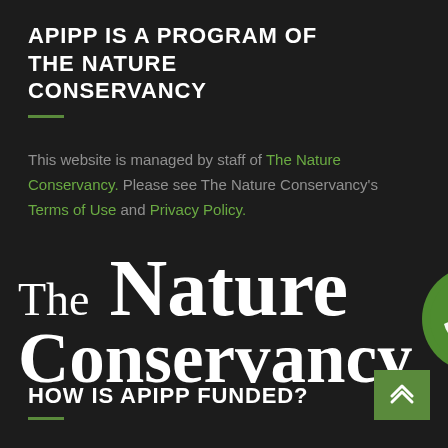APIPP IS A PROGRAM OF THE NATURE CONSERVANCY
This website is managed by staff of The Nature Conservancy. Please see The Nature Conservancy's Terms of Use and Privacy Policy.
[Figure (logo): The Nature Conservancy logo — serif text reading 'The Nature Conservancy' alongside a green circle globe icon with white leaf/map design]
HOW IS APIPP FUNDED?